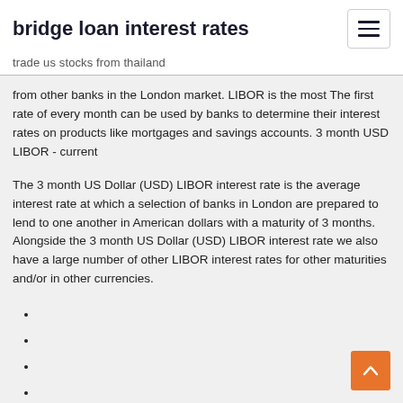bridge loan interest rates
trade us stocks from thailand
from other banks in the London market. LIBOR is the most The first rate of every month can be used by banks to determine their interest rates on products like mortgages and savings accounts. 3 month USD LIBOR - current
The 3 month US Dollar (USD) LIBOR interest rate is the average interest rate at which a selection of banks in London are prepared to lend to one another in American dollars with a maturity of 3 months. Alongside the 3 month US Dollar (USD) LIBOR interest rate we also have a large number of other LIBOR interest rates for other maturities and/or in other currencies.